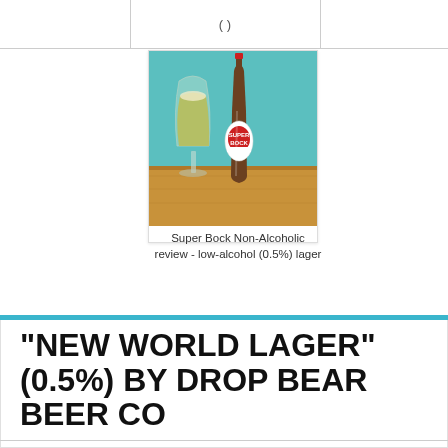[Figure (photo): A glass of golden lager beer next to a bottle of Super Bock Non-Alcoholic beer on a wooden surface with teal background]
Super Bock Non-Alcoholic review - low-alcohol (0.5%) lager
"NEW WORLD LAGER" (0.5%) BY DROP BEAR BEER CO